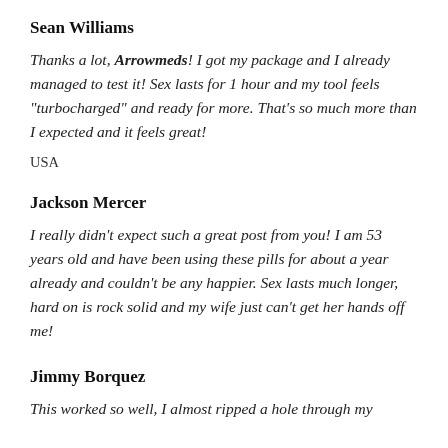Sean Williams
Thanks a lot, Arrowmeds! I got my package and I already managed to test it! Sex lasts for 1 hour and my tool feels "turbocharged" and ready for more. That's so much more than I expected and it feels great!
USA
Jackson Mercer
I really didn't expect such a great post from you! I am 53 years old and have been using these pills for about a year already and couldn't be any happier. Sex lasts much longer, hard on is rock solid and my wife just can't get her hands off me!
Jimmy Borquez
This worked so well, I almost ripped a hole through my